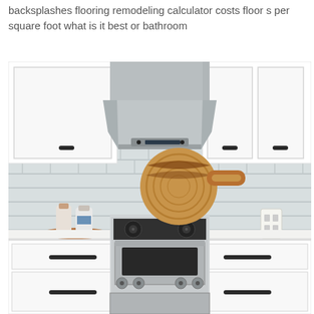backsplashes flooring remodeling calculator costs floor s per square foot what is it best or bathroom
[Figure (photo): A modern kitchen with white shaker cabinets, gray subway tile backsplash, a stainless steel range hood, a gas stove/range, white countertops, and a round wooden cutting board displayed on the backsplash above the stove.]